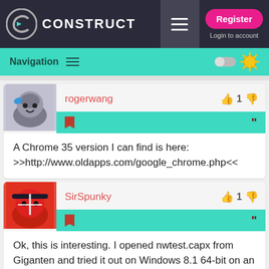CONSTRUCT — Register / Login to account
Navigation
rogerwang — 1 vote
A Chrome 35 version I can find is here: >>http://www.oldapps.com/google_chrome.php<<
SirSpunky — 1 vote
Ok, this is interesting. I opened nwtest.capx from Giganten and tried it out on Windows 8.1 64-bit on an i5 2500K with Radeon HD 6850 (C2 178).

When I preview as node-webkit from inside C2